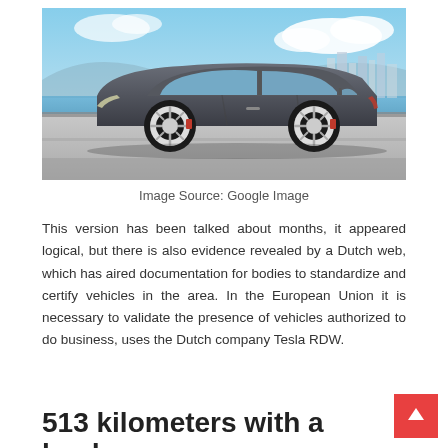[Figure (photo): A dark gray Tesla Model S sedan driving on a road with a blue sky and waterfront city skyline in the background.]
Image Source: Google Image
This version has been talked about months, it appeared logical, but there is also evidence revealed by a Dutch web, which has aired documentation for bodies to standardize and certify vehicles in the area. In the European Union it is necessary to validate the presence of vehicles authorized to do business, uses the Dutch company Tesla RDW.
513 kilometers with a load